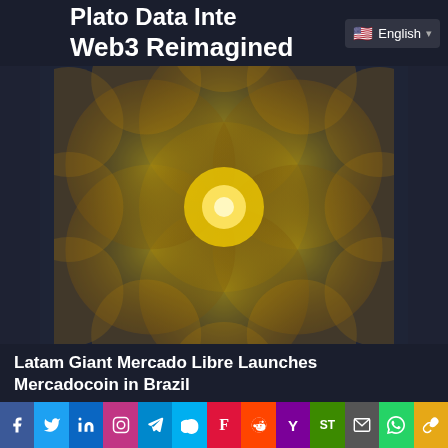Plato Data Inte... Web3 Reimagined
[Figure (illustration): Golden flower of life sacred geometry mandala on dark navy background — overlapping circles forming a symmetrical petal/flower pattern in gold/amber gradient tones]
Latam Giant Mercado Libre Launches Mercadocoin in Brazil
[Figure (infographic): Social media sharing bar with icons: Facebook, Twitter, LinkedIn, Instagram, Telegram, Skype, Flipboard, Reddit, Yahoo, SmartThings, Email, WhatsApp, Copy Link]